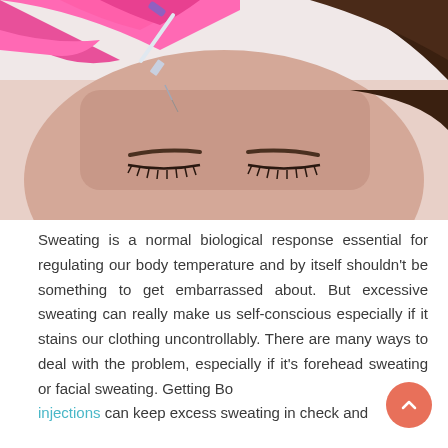[Figure (photo): Close-up photo of a woman lying down with eyes closed receiving a botox or cosmetic injection on her forehead. A person wearing bright pink latex gloves is administering the injection with a small syringe. The woman has manicured eyebrows and long lashes.]
Sweating is a normal biological response essential for regulating our body temperature and by itself shouldn't be something to get embarrassed about. But excessive sweating can really make us self-conscious especially if it stains our clothing uncontrollably. There are many ways to deal with the problem, especially if it's forehead sweating or facial sweating. Getting Botox injections can keep excess sweating in check and